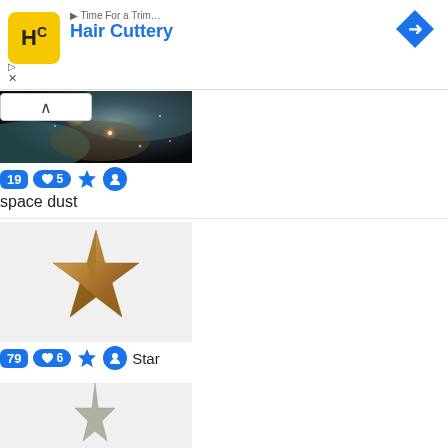[Figure (screenshot): Hair Cuttery advertisement banner with yellow logo, blue brand name, and blue diamond navigation arrow]
[Figure (photo): Space dust - dark nebula image with stars and orange/teal hues]
19  ♥ 5  ★  👤  space dust
[Figure (photo): 3D metallic decorative star ornament on light gray background]
79  ♥ 6  ★  👤  Star
[Figure (photo): Partial view of another star ornament at bottom of page]